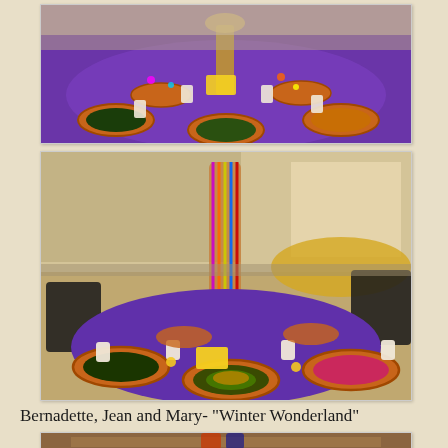[Figure (photo): Mardi Gras themed table setting with purple tablecloth, orange charger plates, colorful beads and decorations, top-down angled view]
[Figure (photo): Mardi Gras themed table setting with purple tablecloth, tall centerpiece column with beads, orange charger plates with feathered decorations, wide angle view of banquet room]
Bernadette, Jean and Mary- "Winter Wonderland"
[Figure (photo): Winter Wonderland themed table decoration with figurines and ornaments on a table]